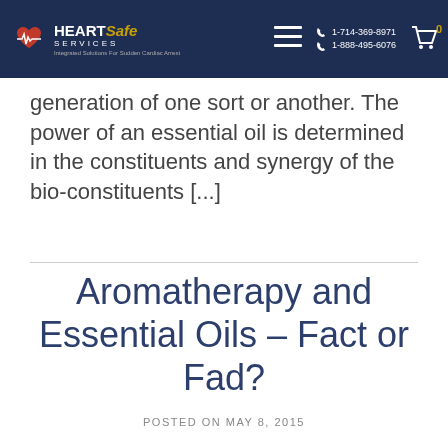HeartSafe Services | 1-714-369-8971 | 1-888-495-6076 | Integrated Solutions For Sudden Cardiac Arrest
...generation of one sort or another. The power of an essential oil is determined in the constituents and synergy of the bio-constituents [...]
Aromatherapy and Essential Oils – Fact or Fad?
POSTED ON MAY 8, 2015